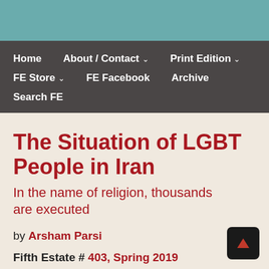Home | About / Contact | Print Edition | FE Store | FE Facebook | Archive | Search FE
The Situation of LGBT People in Iran
In the name of religion, thousands are executed
by Arsham Parsi
Fifth Estate # 403, Spring 2019